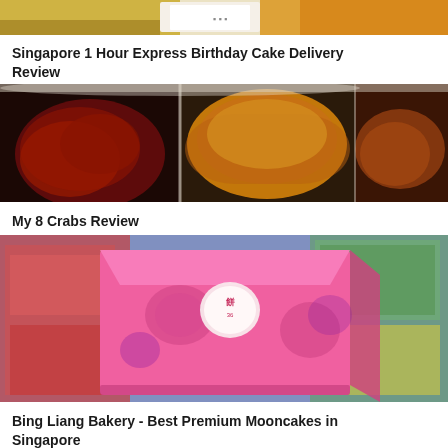[Figure (photo): Top portion of a birthday cake delivery photo showing colorful packaging and a white box]
Singapore 1 Hour Express Birthday Cake Delivery Review
[Figure (photo): Photo of crab dishes in takeaway containers: black pepper crab on left, cereal prawns or crab in center, and fried chicken wings on right]
My 8 Crabs Review
[Figure (photo): Pink floral gift box with Chinese characters logo from Bing Liang Bakery, surrounded by colorful comic book pages]
Bing Liang Bakery - Best Premium Mooncakes in Singapore